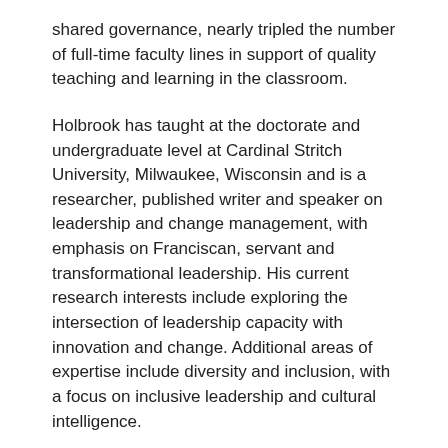shared governance, nearly tripled the number of full-time faculty lines in support of quality teaching and learning in the classroom.
Holbrook has taught at the doctorate and undergraduate level at Cardinal Stritch University, Milwaukee, Wisconsin and is a researcher, published writer and speaker on leadership and change management, with emphasis on Franciscan, servant and transformational leadership. His current research interests include exploring the intersection of leadership capacity with innovation and change. Additional areas of expertise include diversity and inclusion, with a focus on inclusive leadership and cultural intelligence.
Holbrook has experience with designing and facilitating leadership development programs and trainings for numerous for- and non-profit organizations in Southeastern Wisconsin. He is a trained facilitator and coach in Cultural Intelligence